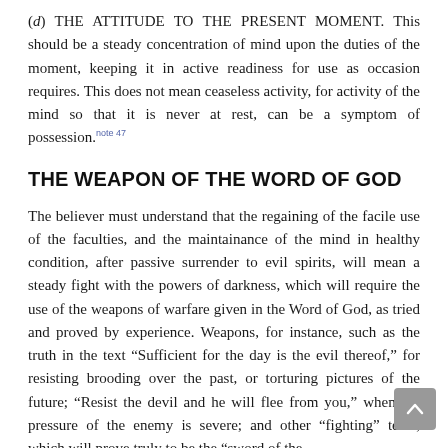(d) THE ATTITUDE TO THE PRESENT MOMENT. This should be a steady concentration of mind upon the duties of the moment, keeping it in active readiness for use as occasion requires. This does not mean ceaseless activity, for activity of the mind so that it is never at rest, can be a symptom of possession.note 47
THE WEAPON OF THE WORD OF GOD
The believer must understand that the regaining of the facile use of the faculties, and the maintainance of the mind in healthy condition, after passive surrender to evil spirits, will mean a steady fight with the powers of darkness, which will require the use of the weapons of warfare given in the Word of God, as tried and proved by experience. Weapons, for instance, such as the truth in the text "Sufficient for the day is the evil thereof," for resisting brooding over the past, or torturing pictures of the future; "Resist the devil and he will flee from you," when the pressure of the enemy is severe; and other "fighting" texts, which will prove truly to be the "sword of the